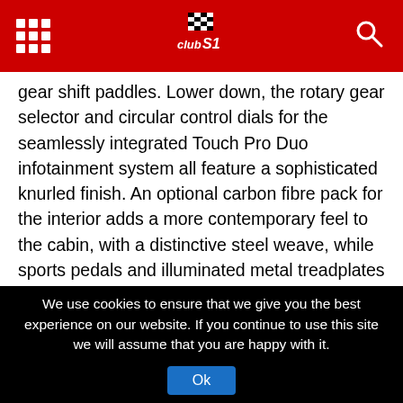Club S1 header with grid menu icon, logo, and search icon
gear shift paddles. Lower down, the rotary gear selector and circular control dials for the seamlessly integrated Touch Pro Duo infotainment system all feature a sophisticated knurled finish. An optional carbon fibre pack for the interior adds a more contemporary feel to the cabin, with a distinctive steel weave, while sports pedals and illuminated metal treadplates with Range Rover script complete the look.
The work of Special Vehicle Operations focused on delivering increased breath of capability, maintaining Land Rover's renowned all-terrain expertise while providing new levels of dynamic control and performance. Aside from far-reaching electronic tuning, upgraded anti-roll bars reduce body roll during hard cornering. Meanwhile, the revised set-up for the Continuously Variable
We use cookies to ensure that we give you the best experience on our website. If you continue to use this site we will assume that you are happy with it. Ok